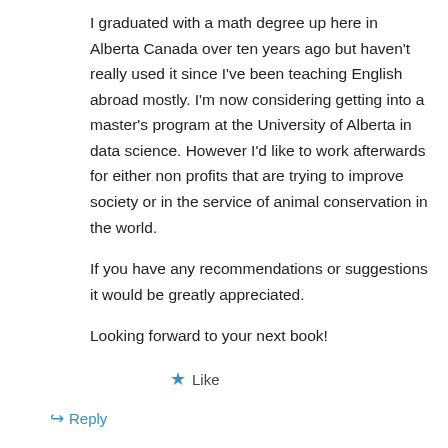I graduated with a math degree up here in Alberta Canada over ten years ago but haven't really used it since I've been teaching English abroad mostly. I'm now considering getting into a master's program at the University of Alberta in data science. However I'd like to work afterwards for either non profits that are trying to improve society or in the service of animal conservation in the world.
If you have any recommendations or suggestions it would be greatly appreciated.
Looking forward to your next book!
★ Like
↳ Reply